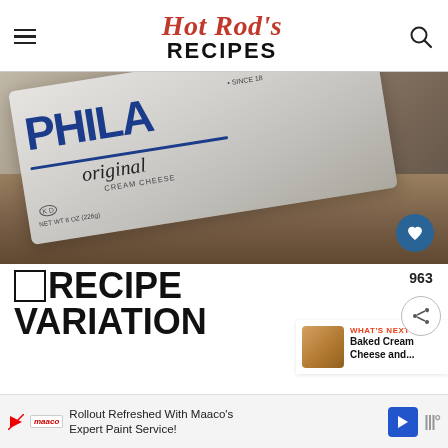Hot Rod's RECIPES
[Figure (photo): Philadelphia original cream cheese box photographed at an angle on a wooden surface]
🔲 RECIPE VARIATION
If you are not a fan of everything
[Figure (infographic): What's Next sidebar thumbnail: Baked Cream Cheese and...]
Rollout Refreshed With Maaco's Expert Paint Service!